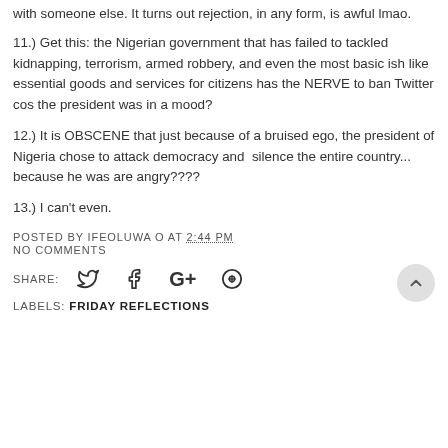with someone else. It turns out rejection, in any form, is awful lmao.
11.) Get this: the Nigerian government that has failed to tackled kidnapping, terrorism, armed robbery, and even the most basic ish like essential goods and services for citizens has the NERVE to ban Twitter cos the president was in a mood?
12.) It is OBSCENE that just because of a bruised ego, the president of Nigeria chose to attack democracy and  silence the entire country... because he was are angry????
13.) I can't even.
POSTED BY IFEOLUWA O AT 2:44 PM
NO COMMENTS
SHARE: [Twitter] [Facebook] [Google+] [Pinterest]
LABELS: FRIDAY REFLECTIONS